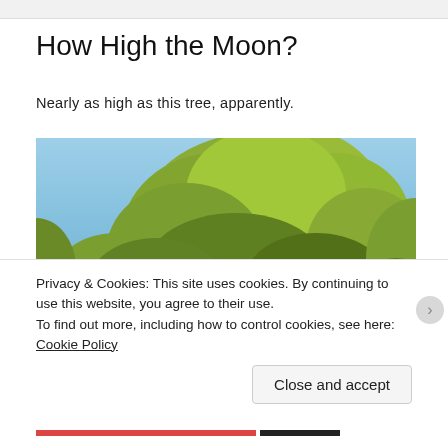How High the Moon?
Nearly as high as this tree, apparently.
[Figure (photo): Photo of tall trees with green-yellow foliage against a clear blue sky, with a faint moon visible in the upper right area of the sky.]
Privacy & Cookies: This site uses cookies. By continuing to use this website, you agree to their use.
To find out more, including how to control cookies, see here: Cookie Policy
Close and accept